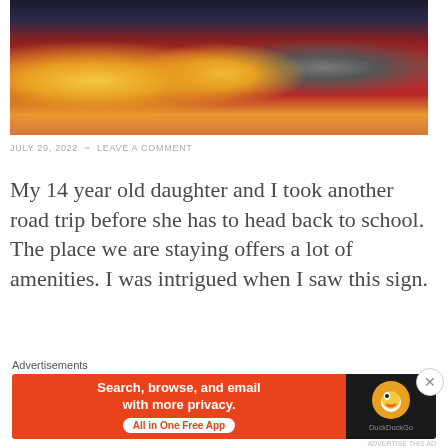[Figure (photo): Animated movie scene showing Minions and a character sitting in red cinema seats, mouths open in excitement]
JULY 29, 2022  ~  LEAVE A COMMENT
My 14 year old daughter and I took another road trip before she has to head back to school. The place we are staying offers a lot of amenities. I was intrigued when I saw this sign.
[Figure (photo): Partial photo of a sign on a wall, showing top of a house-shaped green icon]
Advertisements
[Figure (other): DuckDuckGo advertisement banner: Search, browse, and email with more privacy. All in One Free App]